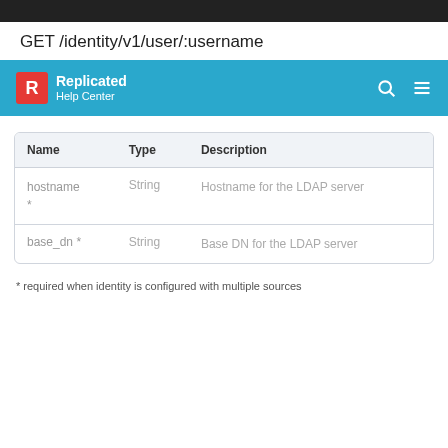GET /identity/v1/user/:username
[Figure (other): Replicated Help Center navigation bar with logo, search icon, and hamburger menu on a blue background]
| Name | Type | Description |
| --- | --- | --- |
| hostname * | String | Hostname for the LDAP server |
| base_dn * | String | Base DN for the LDAP server |
* required when identity is configured with multiple sources